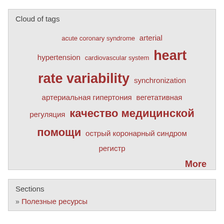Cloud of tags
[Figure (infographic): Tag cloud with medical terms in English and Russian. Terms include: acute coronary syndrome, arterial hypertension, cardiovascular system, heart rate variability, synchronization, артериальная гипертония, вегетативная регуляция, качество медицинской помощи, острый коронарный синдром, регистр]
More
Sections
» Полезные ресурсы